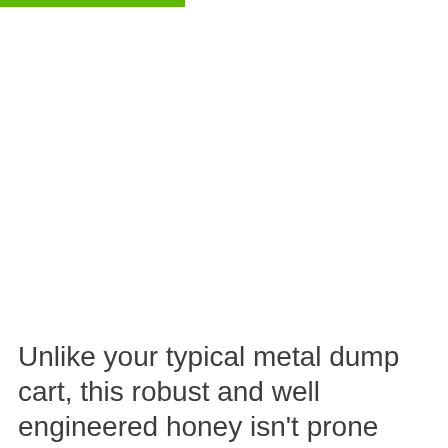[Figure (other): Green horizontal bar at the top of the page, partial width]
[Figure (other): Gray rounded back-to-top button with upward chevron arrow on the right side]
Unlike your typical metal dump cart, this robust and well engineered honey isn't prone